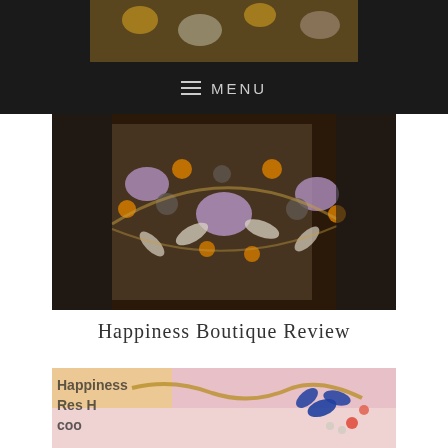[Figure (photo): Close-up photo of ornate crystal and gemstone jewelry necklace with purple, orange and clear stones on dark background]
MENU
[Figure (photo): Close-up photo of ornate crystal jewelry necklace with purple, orange and clear stones laid on fashion illustration background]
Happiness Boutique Review
[Figure (photo): Close-up photo of gold chain necklace with blue flower and coral/crystal embellishments on colorful graffiti background with text 'Happiness Boutique']